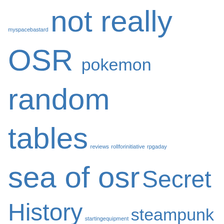myspacebastard not really OSR pokemon random tables reviews rollforinitiative rpgaday sea of osr Secret History startingequipment steampunk system Tekumel thinkingtimpowersthoughts tikinD Viziers VOC whenattractfishgoespolitical
Archives
July 2022
June 2022
February 2022
July 2021
June 2021
May 2021
March 2021
February 2021
January 2021